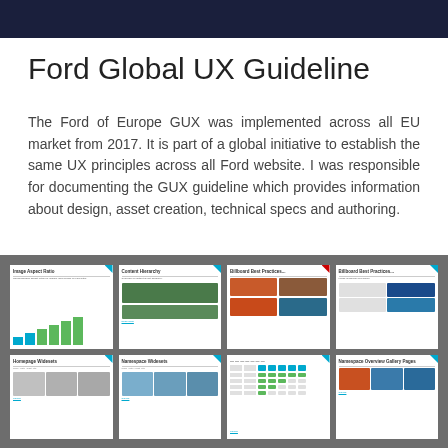Ford Global UX Guideline
The Ford of Europe GUX was implemented across all EU market from 2017. It is part of a global initiative to establish the same UX principles across all Ford website. I was responsible for documenting the GUX guideline which provides information about design, asset creation, technical specs and authoring.
[Figure (screenshot): A grid of 8 presentation slide thumbnails showing Ford GUX guidelines including Image Aspect Ratio, Content Hierarchy, Billboard Best Practices, Homepage Widesets, Namespace Widesets, and Namespace Overview Gallery Pages slides arranged in 2 rows of 4 columns on a grey background.]